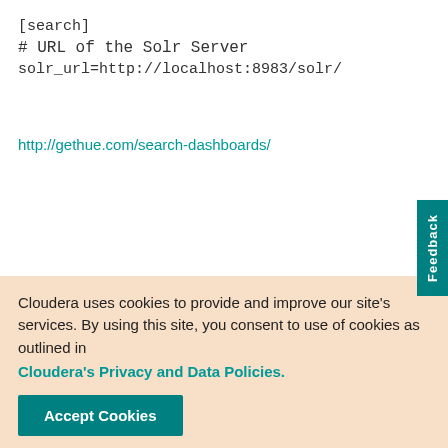[search]
# URL of the Solr Server
solr_url=http://localhost:8983/solr/
http://gethue.com/search-dashboards/
Reply
Feedback
2,534 VIEWS  0 KU
Cloudera uses cookies to provide and improve our site's services. By using this site, you consent to use of cookies as outlined in Cloudera's Privacy and Data Policies.
Accept Cookies